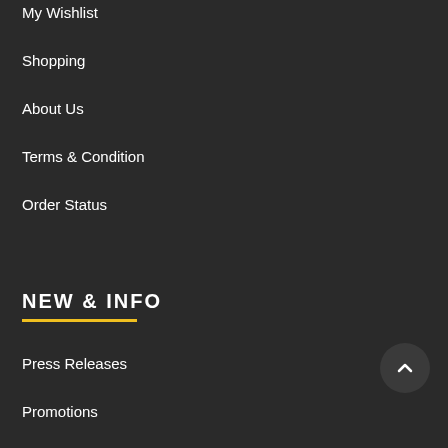My Wishlist
Shopping
About Us
Terms & Condition
Order Status
NEW & INFO
Press Releases
Promotions